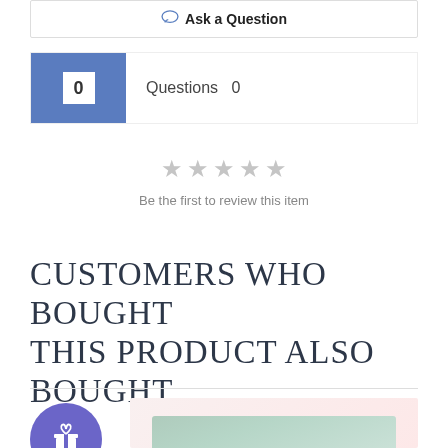Ask a Question
Questions  0
[Figure (other): Five empty star rating icons in grey, indicating no reviews yet]
Be the first to review this item
CUSTOMERS WHO BOUGHT THIS PRODUCT ALSO BOUGHT
[Figure (other): Purple circular gift badge icon with a gift box symbol, next to a product thumbnail image showing a light blue/mint pillow or cushion on a soft pink background]